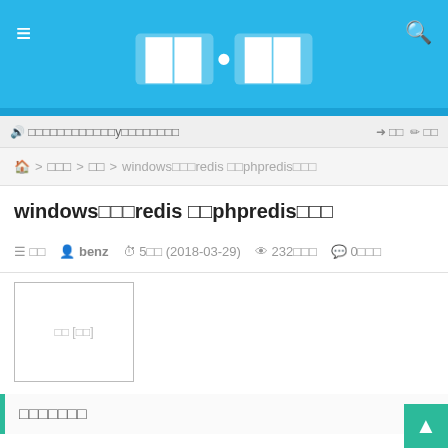Header with clock display and navigation icons
🔊 □□□□□□□□□□□□y□□□□□□□□
➜ □□  ✏ □□
🏠 > □□□ > □□ > windows□□□redis □□phpredis□□□
windows□□□redis □□phpredis□□□
☰ □□   👤 benz   ⏰ 5□□ (2018-03-29)   👁 232□□□   💬 0□□□
[Figure (other): Cover image box placeholder]
□□□□□□□
1. redis for windows □□ https://github.com/MicrosoftArchive/redis/releases